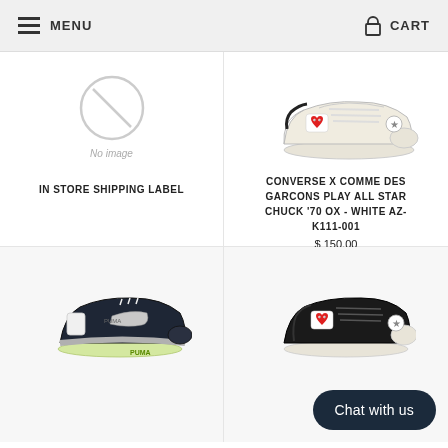MENU   CART
[Figure (illustration): No image placeholder circle with diagonal line through it, labeled 'No image']
IN STORE SHIPPING LABEL
[Figure (photo): White low-top Converse x Comme des Garcons Play All Star Chuck 70 OX sneaker with red heart logo]
CONVERSE X COMME DES GARCONS PLAY ALL STAR CHUCK '70 OX - WHITE AZ-K111-001
$ 150.00
[Figure (photo): Dark navy/black and grey low-top PUMA sneaker with yellow-green sole]
[Figure (photo): Black low-top Converse x Comme des Garcons Play sneaker with red heart logo, partially obscured by chat bubble]
Chat with us